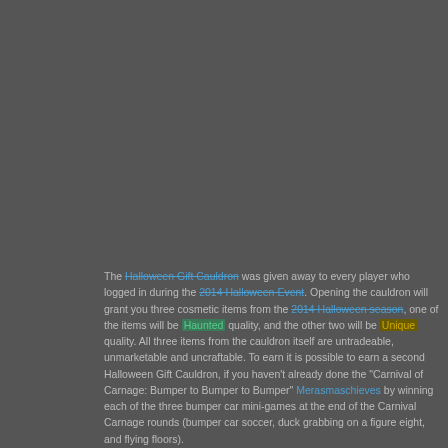The Halloween Gift Cauldron was given away to every player who logged in during the 2014 Halloween Event. Opening the cauldron will grant you three cosmetic items from the 2014 Halloween season, one of the items will be Haunted quality, and the other two will be Unique quality. All three items from the cauldron itself are untradeable, unmarketable and uncraftable. To earn it is possible to earn a second Halloween Gift Cauldron, if you haven't already done the "Carnival of Carnage: Bumper to Bumper to Bumper" Merasmaschieves by winning each of the three bumper car mini-games at the end of the Carnival Carnage rounds (bumper car soccer, duck grabbing on a figure eight, and flying floors).
10. Necro Smasher